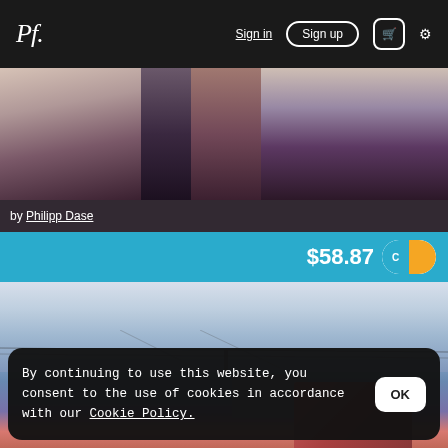Pf. Sign in Sign up 🛒 ⚙
[Figure (photo): Blurred bokeh background image with soft warm tones, dark vertical shapes]
by Philipp Dase
$58.87
[Figure (photo): Urban cityscape photo with cloudy sky, train tracks, wires, and a red building]
By continuing to use this website, you consent to the use of cookies in accordance with our Cookie Policy.